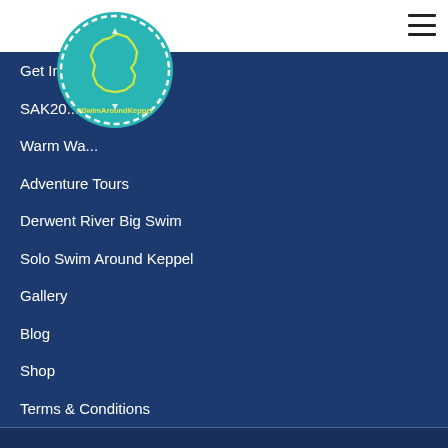[Figure (logo): Circular logo with teal background, showing a map outline of Keppel Island in yellow-green, white dashed border circle, and '#SwimAroundKeppel' text in yellow at the bottom]
Get In...
SAK20... ws
Warm Wa...
Adventure Tours
Derwent River Big Swim
Solo Swim Around Keppel
Gallery
Blog
Shop
Terms & Conditions
Event Cancellation
Privacy Policy